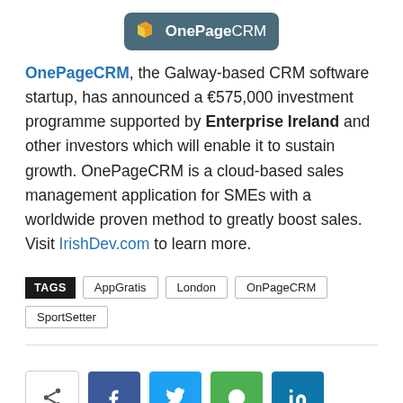[Figure (logo): OnePageCRM logo: orange book icon on dark teal/grey background with text 'OnePageCRM']
OnePageCRM, the Galway-based CRM software startup, has announced a €575,000 investment programme supported by Enterprise Ireland and other investors which will enable it to sustain growth. OnePageCRM is a cloud-based sales management application for SMEs with a worldwide proven method to greatly boost sales. Visit IrishDev.com to learn more.
TAGS: AppGratis, London, OnPageCRM, SportSetter
[Figure (other): Share buttons row: native share, Facebook, Twitter, WhatsApp, LinkedIn]